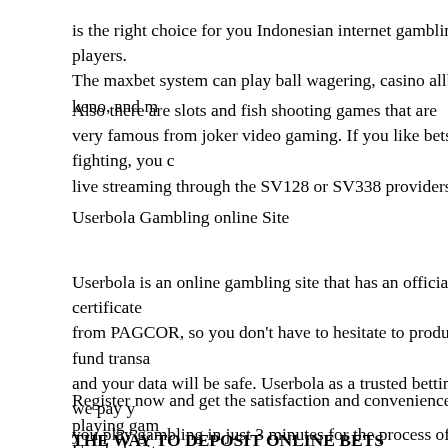is the right choice for you Indonesian internet gambling players. The maxbet system can play ball wagering, casino allbet, keno, and m
Also there are slots and fish shooting games that are very famous from joker video gaming. If you like bets fighting, you c live streaming through the SV128 or SV338 providers.
Userbola Gambling online Site
Userbola is an online gambling site that has an official certificate from PAGCOR, so you don't have to hesitate to produce a fund transa and your data will be safe. Userbola as a trusted betting site, we pay y you play gambling in just 3 minutes for the process of withdrawing ca and for the process of depositing money for approximately 1 minute. Userbola provides transaction services from 9 banks namely Lender BCA, BNI, BRI, Mandiri, CIMB Niaga, Danamon, Panin, OCBC NISP. You can also get alternative transaction services such as
Register now and get the satisfaction and convenience of playing gam Userbola site.
THE WAY TO DEPOSIT ONLINE BETS
You first have to register to become a member of a football gambling agent. After that you will be given a customer ID to log in t